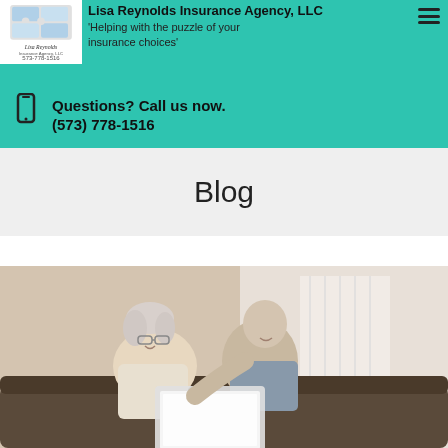Lisa Reynolds Insurance Agency, LLC — 'Helping with the puzzle of your insurance choices'
Questions? Call us now.
(573) 778-1516
Blog
[Figure (photo): Elderly couple smiling and looking at a laptop together on a couch]